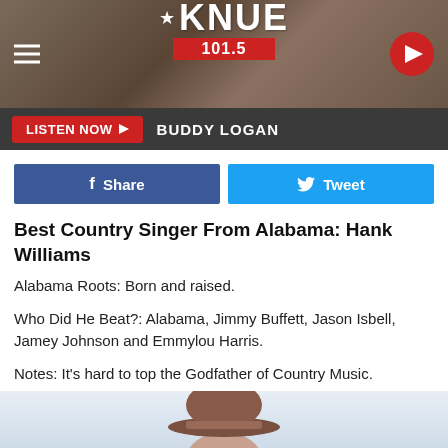KNUE 101.5
LISTEN NOW  BUDDY LOGAN
[Figure (other): Facebook Share button and Twitter Tweet button]
Best Country Singer From Alabama: Hank Williams
Alabama Roots: Born and raised.
Who Did He Beat?: Alabama, Jimmy Buffett, Jason Isbell, Jamey Johnson and Emmylou Harris.
Notes: It's hard to top the Godfather of Country Music.
[Figure (photo): Photo of person wearing a brown cowboy hat]
Shop Beauty with Walgreens  Walgreens Photo